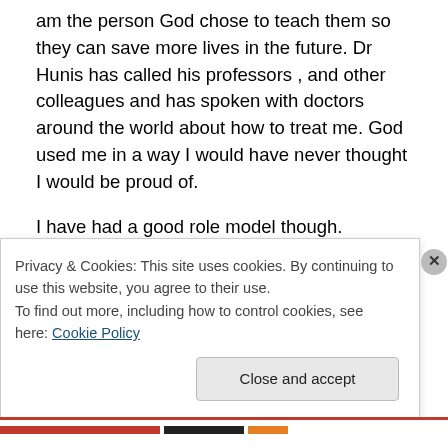am the person God chose to teach them so they can save more lives in the future. Dr Hunis has called his professors , and other colleagues and has spoken with doctors around the world about how to treat me. God used me in a way I would have never thought I would be proud of.
I have had a good role model though.
One person has taught me that a medical diagnosis can be a gift and blessing. That person is my wife Joy. She has said for many years now that God , in His sovereign wisdom, chose her to have multiple sclerosis so she could
Privacy & Cookies: This site uses cookies. By continuing to use this website, you agree to their use.
To find out more, including how to control cookies, see here: Cookie Policy